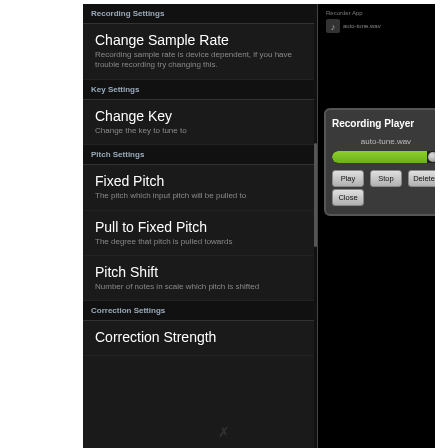[Figure (screenshot): Android app screenshot showing two panels side by side. Left panel shows app settings with Recording Settings, Key Settings, Pitch Settings, and Correction Settings sections. Right panel shows a Recording Player dialog with a progress bar and Play/Stop/Delete/Close buttons.]